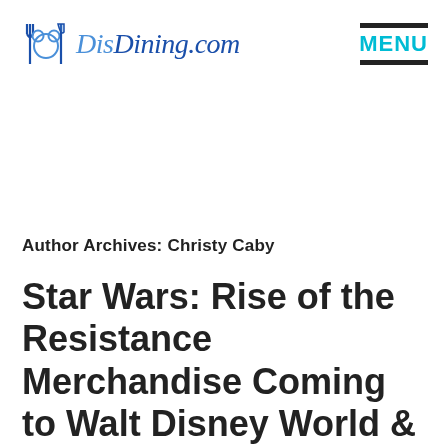DisDining.com — MENU
Author Archives: Christy Caby
Star Wars: Rise of the Resistance Merchandise Coming to Walt Disney World & Other Disney Parks on December 5th